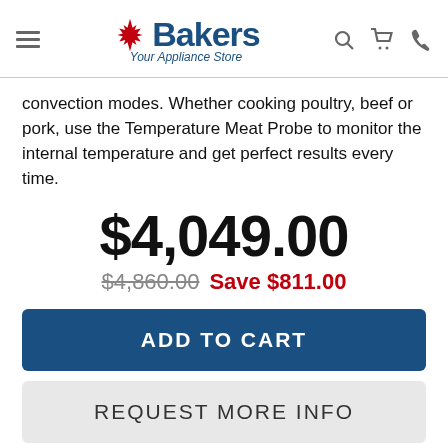[Figure (logo): Bakers Appliance Store logo with red maple leaf and blue text 'Bakers / Your Appliance Store']
convection modes. Whether cooking poultry, beef or pork, use the Temperature Meat Probe to monitor the internal temperature and get perfect results every time.
$4,049.00
$4,860.00  Save $811.00
ADD TO CART
REQUEST MORE INFO